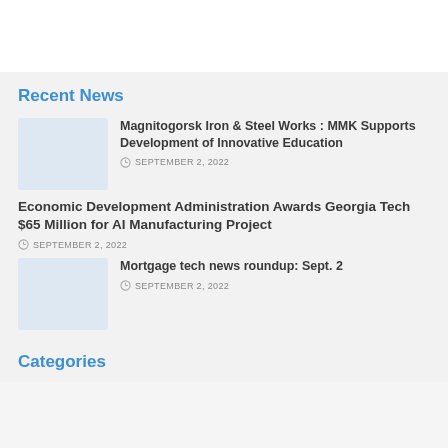Recent News
Magnitogorsk Iron & Steel Works : MMK Supports Development of Innovative Education
SEPTEMBER 2, 2022
Economic Development Administration Awards Georgia Tech $65 Million for AI Manufacturing Project
SEPTEMBER 2, 2022
Mortgage tech news roundup: Sept. 2
SEPTEMBER 2, 2022
Categories